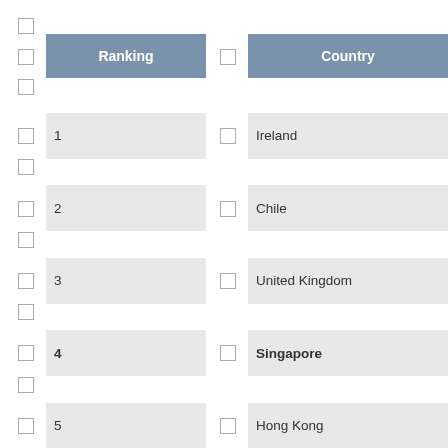| Ranking | Country |
| --- | --- |
| 1 | Ireland |
| 2 | Chile |
| 3 | United Kingdom |
| 4 | Singapore |
| 5 | Hong Kong |
| 6 | Iceland |
| 7 | South... |